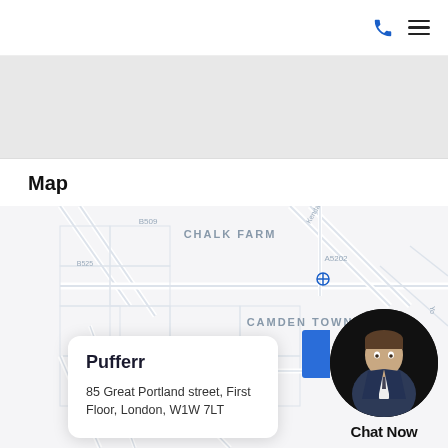Phone and menu icons
[Figure (map): Street map showing Chalk Farm and Camden Town area in London, with area labels B509, A5202, B525, Outer Ci, Park Rd, J5, Kendal street labels visible]
Map
Pufferr
85 Great Portland street, First Floor, London, W1W 7LT
Chat Now